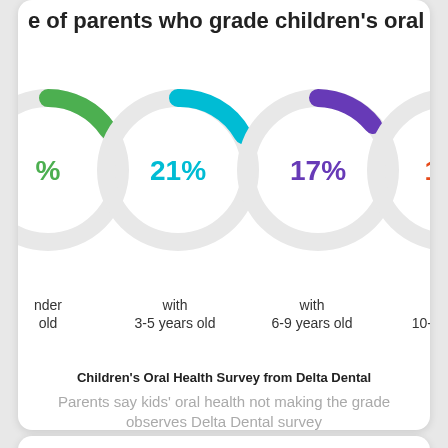e of parents who grade children's oral health a
[Figure (donut-chart): Donut charts showing percentages by age group]
Children's Oral Health Survey from Delta Dental
Parents say kids' oral health not making the grade observes Delta Dental survey
[Figure (screenshot): Delta Dental Utah Medicaid Dental Program Specialty Care Referral Form with referral information section, patient information section, phone number 866-616-1475]